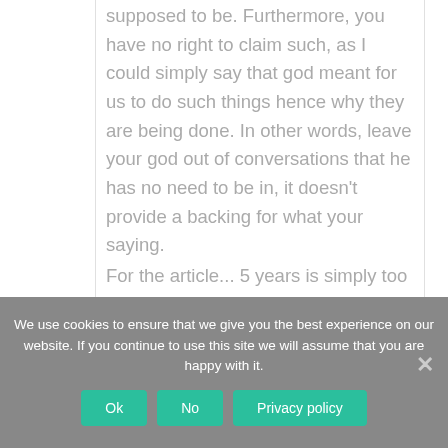supposed to be. Furthermore, you have no right to claim such, as I could simply say that god meant for us to do such things hence why they are being done. In other words, leave your god out of conversations that he has no need to be in, it doesn't provide a backing for what your saying.
For the article... 5 years is simply too
We use cookies to ensure that we give you the best experience on our website. If you continue to use this site we will assume that you are happy with it.